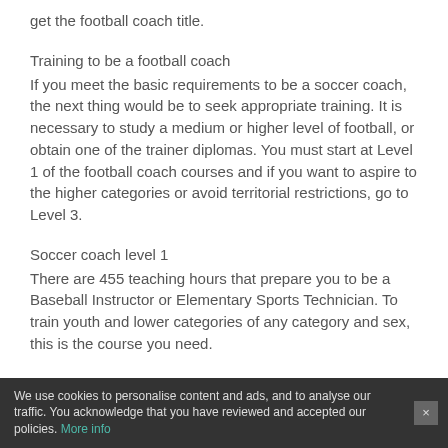get the football coach title.
Training to be a football coach
If you meet the basic requirements to be a soccer coach, the next thing would be to seek appropriate training. It is necessary to study a medium or higher level of football, or obtain one of the trainer diplomas. You must start at Level 1 of the football coach courses and if you want to aspire to the higher categories or avoid territorial restrictions, go to Level 3.
Soccer coach level 1
There are 455 teaching hours that prepare you to be a Baseball Instructor or Elementary Sports Technician. To train youth and lower categories of any category and sex, this is the course you need.
Soccer coach level 2
It consists of 565 teaching hours and allows you to be
We use cookies to personalise content and ads, and to analyse our traffic. You acknowledge that you have reviewed and accepted our policies. More info